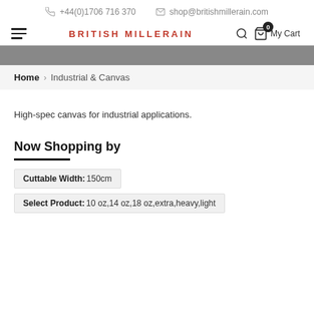+44(0)1706 716 370  shop@britishmillerain.com
BRITISH MILLERAIN  My Cart
Home > Industrial & Canvas
High-spec canvas for industrial applications.
Now Shopping by
Cuttable Width: 150cm
Select Product: 10 oz,14 oz,18 oz,extra,heavy,light